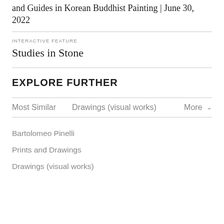and Guides in Korean Buddhist Painting | June 30, 2022
INTERACTIVE FEATURE
Studies in Stone
EXPLORE FURTHER
Most Similar
Drawings (visual works)
More
Bartolomeo Pinelli
Prints and Drawings
Drawings (visual works)